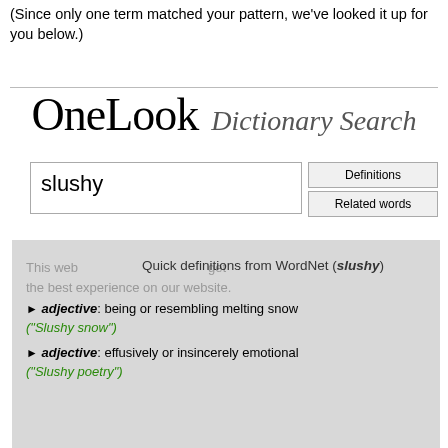(Since only one term matched your pattern, we've looked it up for you below.)
[Figure (screenshot): OneLook Dictionary Search website screenshot showing search for 'slushy' with WordNet quick definitions]
Quick definitions from WordNet (slushy)
adjective: being or resembling melting snow ("Slushy snow")
adjective: effusively or insincerely emotional ("Slushy poetry")
Also see slushiness
Words similar to slushy